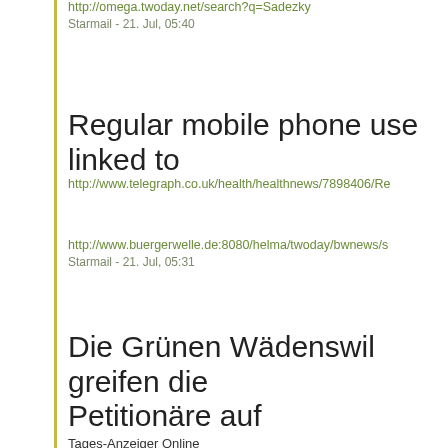http://omega.twoday.net/search?q=Sadezky
Starmail - 21. Jul, 05:40
Regular mobile phone use linked to
http://www.telegraph.co.uk/health/healthnews/7898406/Re
http://www.buergerwelle.de:8080/helma/twoday/bwnews/s
Starmail - 21. Jul, 05:31
Die Grünen Wädenswil greifen die Petitionäre auf
Tages-Anzeiger Online
Der Stadtrat muss sich jetzt auch auf politischer Ebene mi
http://www.tagesanzeiger.ch/zuerich/linkes-ufer/Die-Gruen MobilfunkantennenPetitionaere-auf-/story/12852625